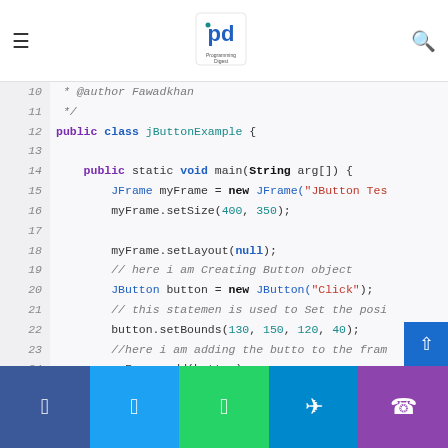Programming Digest - navigation header with logo
[Figure (screenshot): Java code editor showing JButtonExample class with line numbers 10-29. Code includes imports, class declaration, main method, JFrame setup, JButton creation with ActionListener.]
Social share buttons: Facebook, Twitter, WhatsApp, Telegram, Phone